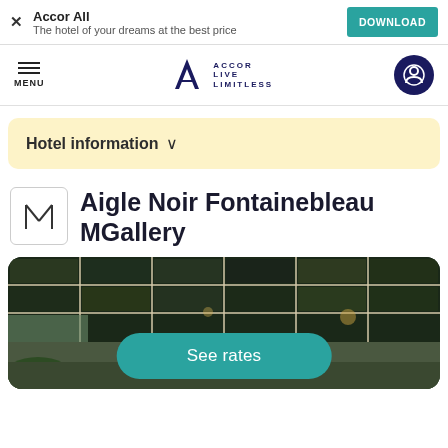Accor All — The hotel of your dreams at the best price — DOWNLOAD
[Figure (logo): ALL Accor Live Limitless logo with navigation menu icon and user account icon]
Hotel information ∨
Aigle Noir Fontainebleau MGallery
[Figure (photo): Interior photo of Aigle Noir Fontainebleau hotel showing decorative ceiling with painted panels and grid pattern]
See rates